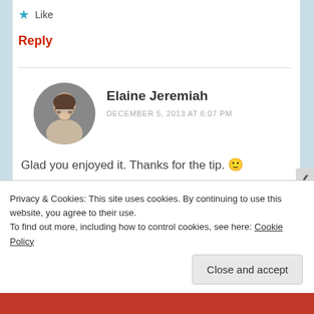★ Like
Reply
Elaine Jeremiah
DECEMBER 5, 2013 AT 6:07 PM
Glad you enjoyed it. Thanks for the tip. 🙂
Privacy & Cookies: This site uses cookies. By continuing to use this website, you agree to their use.
To find out more, including how to control cookies, see here: Cookie Policy
Close and accept